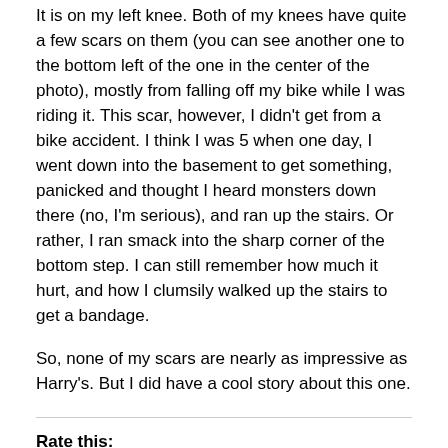It is on my left knee. Both of my knees have quite a few scars on them (you can see another one to the bottom left of the one in the center of the photo), mostly from falling off my bike while I was riding it. This scar, however, I didn't get from a bike accident. I think I was 5 when one day, I went down into the basement to get something, panicked and thought I heard monsters down there (no, I'm serious), and ran up the stairs. Or rather, I ran smack into the sharp corner of the bottom step. I can still remember how much it hurt, and how I clumsily walked up the stairs to get a bandage.
So, none of my scars are nearly as impressive as Harry's. But I did have a cool story about this one.
Rate this: